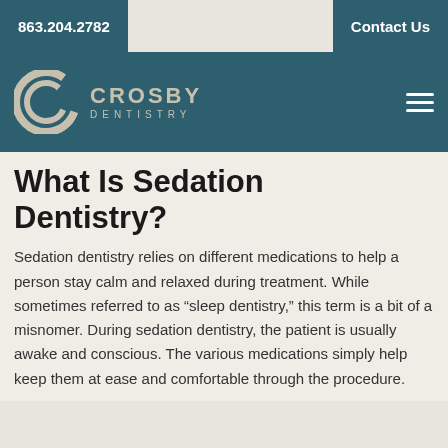863.204.2782
Contact Us
[Figure (logo): Crosby Dentistry logo with stylized C icon in beige/cream on teal background, text reads CROSBY DENTISTRY]
What Is Sedation Dentistry?
Sedation dentistry relies on different medications to help a person stay calm and relaxed during treatment. While sometimes referred to as “sleep dentistry,” this term is a bit of a misnomer. During sedation dentistry, the patient is usually awake and conscious. The various medications simply help keep them at ease and comfortable through the procedure.